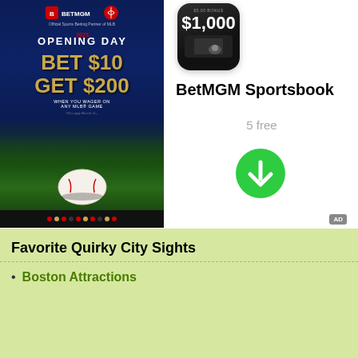[Figure (screenshot): BetMGM Sportsbook advertisement for MLB Opening Day promoting 'Bet $10 Get $200 when you wager on any MLB game', with a baseball on a field background, BetMGM and MLB logos at top.]
BetMGM Sportsbook
5 free
[Figure (illustration): Green circular download button with white downward arrow.]
AD
Favorite Quirky City Sights
Boston Attractions